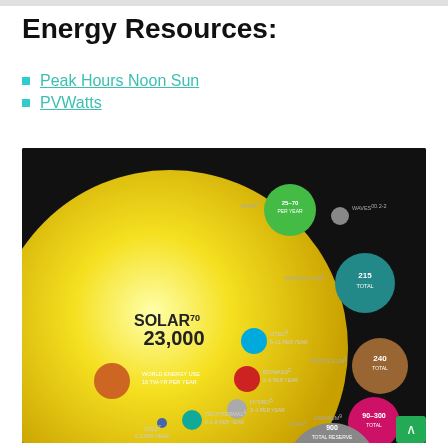Energy Resources:
Peak Hours Noon Sun
PVWatts
[Figure (infographic): Bubble chart comparing world energy resources by size. A large yellow circle labeled SOLAR 23,000 dominates the left. Smaller colored circles represent: WIND (25-70 per year, green), WAVES 0.2-2 (gray small), NATURAL GAS 215 TOTAL (teal), PETROLEUM 240 TOTAL (brown), URANIUM 90-300 TOTAL (pink/magenta), COAL 900 TOTAL RESERVE (gray large, partially visible), OTEC 5-11 per year (cyan), BIOMASS 2-6 per year (red), HYDRO 3-4 per year (light gray), GEOTHERMAL 0.3-8 per year (teal small), TIDES 0.3 per year (tiny blue), and WORLD ENERGY USE 16 TW-YR PER YEAR (orange).]